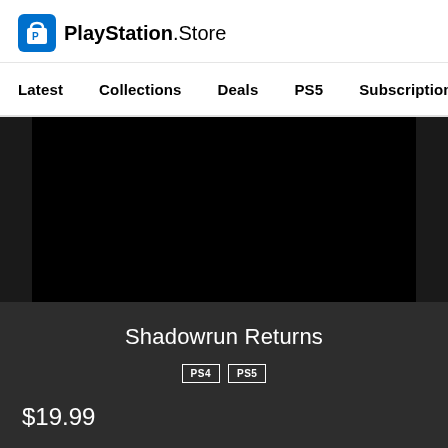[Figure (logo): PlayStation Store logo with blue shopping bag icon and text 'PlayStation.Store']
Latest   Collections   Deals   PS5   Subscriptions >
[Figure (photo): Dark/black game artwork area for Shadowrun Returns]
Shadowrun Returns
PS4   PS5
$19.99